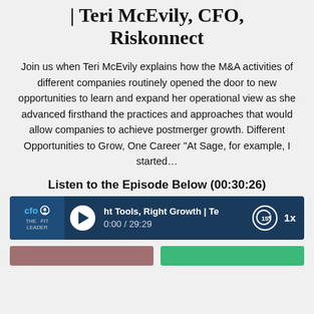| Teri McEvily, CFO, Riskonnect
Join us when Teri McEvily explains how the M&A activities of different companies routinely opened the door to new opportunities to learn and expand her operational view as she advanced firsthand the practices and approaches that would allow companies to achieve postmerger growth. Different Opportunities to Grow, One Career "At Sage, for example, I started...
Listen to the Episode Below (00:30:26)
[Figure (other): Audio player widget showing CFO Thought Leader podcast episode: 'Right Tools, Right Growth | Te...' with playback time 0:00 / 29:29, replay 15s button, and 1x speed control]